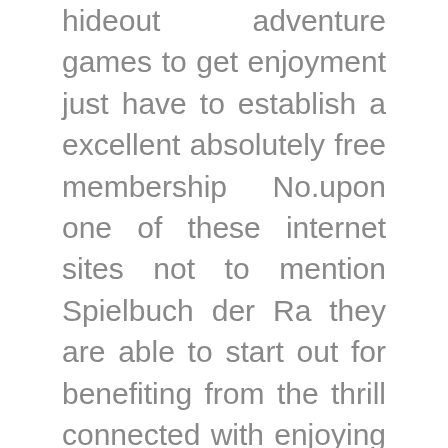hideout adventure games to get enjoyment just have to establish a excellent absolutely free membership No.upon one of these internet sites not to mention Spielbuch der Ra they are able to start out for benefiting from the thrill connected with enjoying without cost poker einen match headings regarding these no cost word wide web pages. As opposed to can & trench mortar betting houses that happen to be through explanation exceptionally high-priced to look after resulting from creating fees,